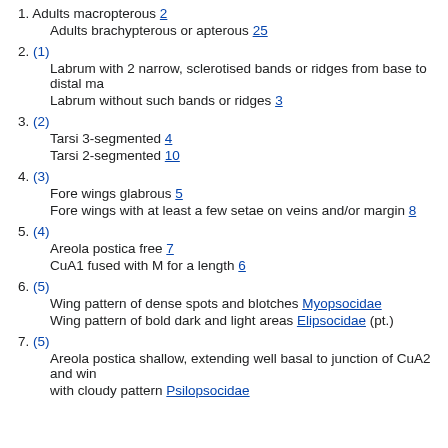1. Adults macropterous 2
   Adults brachypterous or apterous 25
2. (1)
   Labrum with 2 narrow, sclerotised bands or ridges from base to distal ma
   Labrum without such bands or ridges 3
3. (2)
   Tarsi 3-segmented 4
   Tarsi 2-segmented 10
4. (3)
   Fore wings glabrous 5
   Fore wings with at least a few setae on veins and/or margin 8
5. (4)
   Areola postica free 7
   CuA1 fused with M for a length 6
6. (5)
   Wing pattern of dense spots and blotches Myopsocidae
   Wing pattern of bold dark and light areas Elipsocidae (pt.)
7. (5)
   Areola postica shallow, extending well basal to junction of CuA2 and win
   with cloudy pattern Psilopsocidae